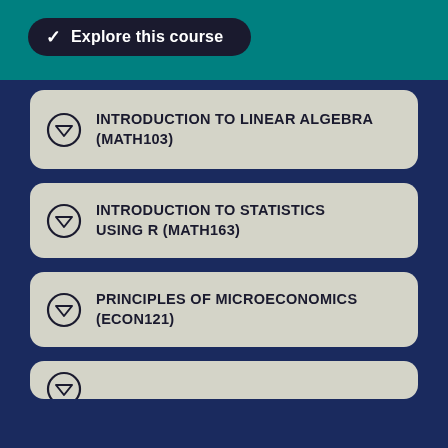Explore this course
INTRODUCTION TO LINEAR ALGEBRA (MATH103)
INTRODUCTION TO STATISTICS USING R (MATH163)
PRINCIPLES OF MICROECONOMICS (ECON121)